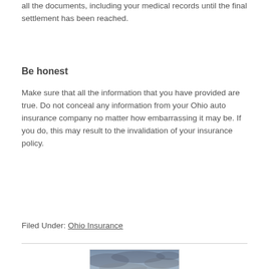all the documents, including your medical records until the final settlement has been reached.
Be honest
Make sure that all the information that you have provided are true. Do not conceal any information from your Ohio auto insurance company no matter how embarrassing it may be. If you do, this may result to the invalidation of your insurance policy.
Filed Under: Ohio Insurance
[Figure (photo): Photograph of a flat open field with dry golden grass under a dramatic cloudy sky at dusk or dawn.]